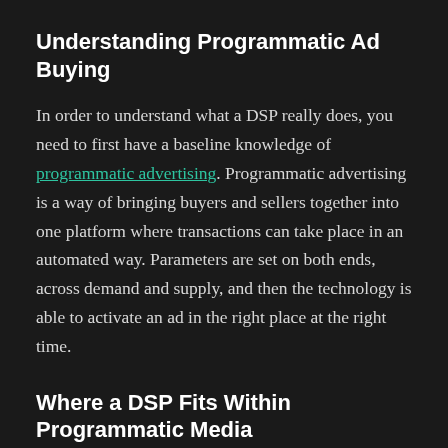Understanding Programmatic Ad Buying
In order to understand what a DSP really does, you need to first have a baseline knowledge of programmatic advertising. Programmatic advertising is a way of bringing buyers and sellers together into one platform where transactions can take place in an automated way. Parameters are set on both ends, across demand and supply, and then the technology is able to activate an ad in the right place at the right time.
Where a DSP Fits Within Programmatic Media
In a programmatic ecosystem, a DSP is used by those on the buy side of the transaction - typically brands, agencies and traders. The DSP provides marketers